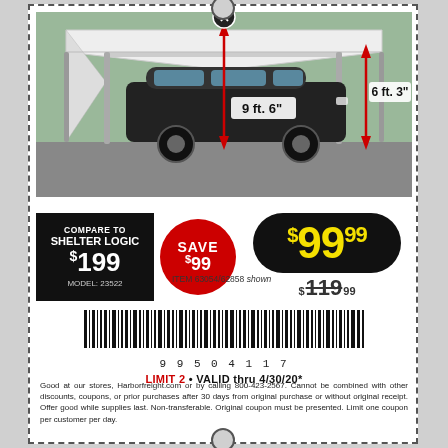[Figure (photo): Photo of a white canopy/carport shelter over a black SUV, with red arrows showing dimensions: 9 ft. 6 in. center height and 6 ft. 3 in. side height]
COMPARE TO SHELTER LOGIC $199 MODEL: 23522
SAVE $99
$99.99
$119.99
ITEM 63054/62858 shown
[Figure (other): Barcode]
99504117
LIMIT 2 • VALID thru 4/30/20*
Good at our stores, Harborfreight.com or by calling 800-423-2567. Cannot be combined with other discounts, coupons, or prior purchases after 30 days from original purchase or without original receipt. Offer good while supplies last. Non-transferable. Original coupon must be presented. Limit one coupon per customer per day.